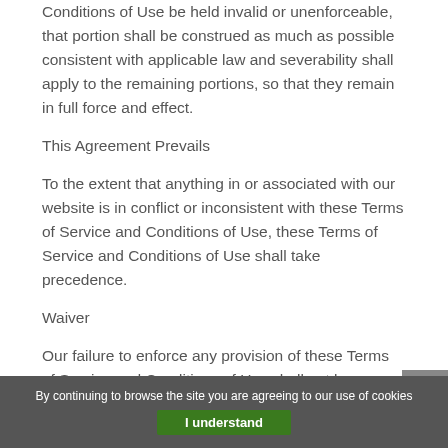Conditions of Use be held invalid or unenforceable, that portion shall be construed as much as possible consistent with applicable law and severability shall apply to the remaining portions, so that they remain in full force and effect.
This Agreement Prevails
To the extent that anything in or associated with our website is in conflict or inconsistent with these Terms of Service and Conditions of Use, these Terms of Service and Conditions of Use shall take precedence.
Waiver
Our failure to enforce any provision of these Terms of Service and Conditions of Use shall not be deemed a waiver of the provision nor of the right to
By continuing to browse the site you are agreeing to our use of cookies